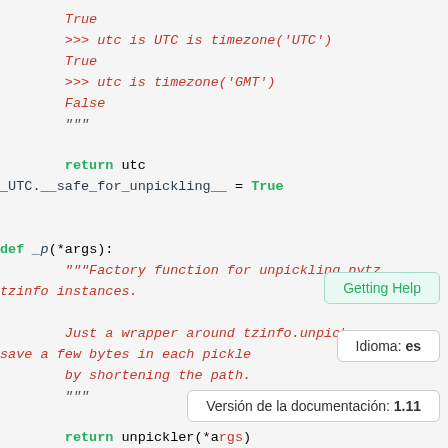Code block showing Python source code with UTC timezone utilities and _p unpickling factory function
Getting Help tooltip
Idioma: es tooltip
Versión de la documentación: 1.11 tooltip